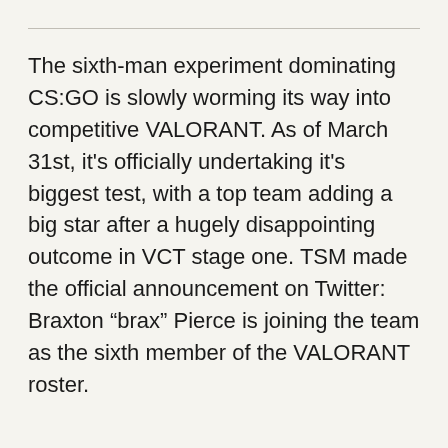The sixth-man experiment dominating CS:GO is slowly worming its way into competitive VALORANT. As of March 31st, it's officially undertaking it's biggest test, with a top team adding a big star after a hugely disappointing outcome in VCT stage one. TSM made the official announcement on Twitter: Braxton “brax” Pierce is joining the team as the sixth member of the VALORANT roster.